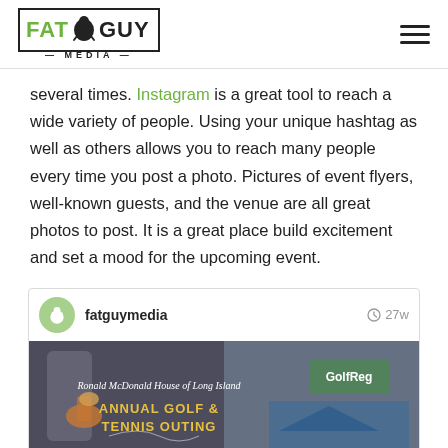FAT GUY MEDIA logo and hamburger menu
several times. Instagram is a great tool to reach a wide variety of people. Using your unique hashtag as well as others allows you to reach many people every time you post a photo. Pictures of event flyers, well-known guests, and the venue are all great photos to post. It is a great place build excitement and set a mood for the upcoming event.
[Figure (screenshot): Instagram post by fatguymedia showing a Ronald McDonald House of Long Island Annual Golf & Tennis Outing event flyer, posted 27 weeks ago.]